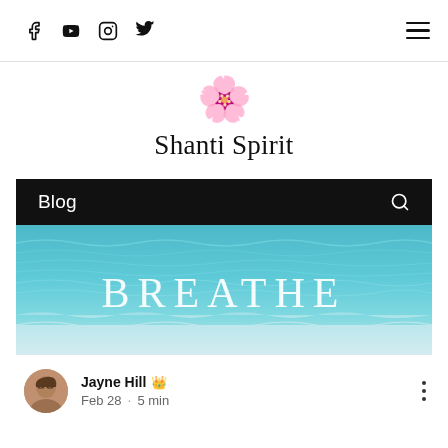Social icons: Facebook, YouTube, Instagram, Twitter · Hamburger menu
[Figure (logo): Lotus flower emoji logo for Shanti Spirit]
Shanti Spirit
Blog
[Figure (photo): Ocean water surface with text 'BREATHE' overlaid in large serif letters]
Jayne Hill 👑
Feb 28 · 5 min